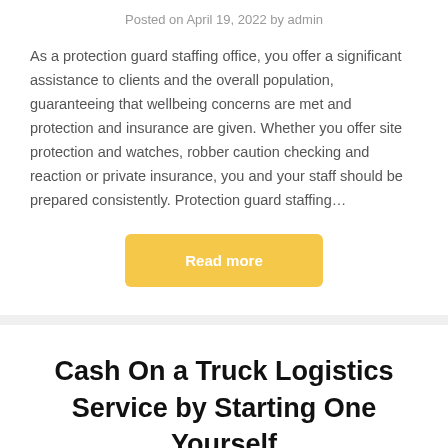Posted on April 19, 2022 by admin
As a protection guard staffing office, you offer a significant assistance to clients and the overall population, guaranteeing that wellbeing concerns are met and protection and insurance are given. Whether you offer site protection and watches, robber caution checking and reaction or private insurance, you and your staff should be prepared consistently. Protection guard staffing…
[Figure (other): Read more button — amber/yellow rounded rectangle with white bold text 'Read more']
Cash On a Truck Logistics Service by Starting One Yourself